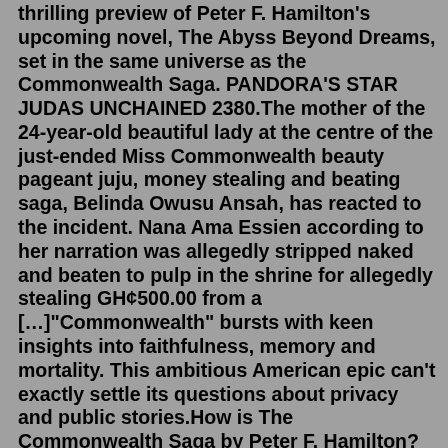thrilling preview of Peter F. Hamilton's upcoming novel, The Abyss Beyond Dreams, set in the same universe as the Commonwealth Saga. PANDORA'S STAR JUDAS UNCHAINED 2380.The mother of the 24-year-old beautiful lady at the centre of the just-ended Miss Commonwealth beauty pageant juju, money stealing and beating saga, Belinda Owusu Ansah, has reacted to the incident. Nana Ama Essien according to her narration was allegedly stripped naked and beaten to pulp in the shrine for allegedly stealing GH¢500.00 from a […]"Commonwealth" bursts with keen insights into faithfulness, memory and mortality. This ambitious American epic can't exactly settle its questions about privacy and public stories.How is The Commonwealth Saga by Peter F. Hamilton? I'm currently looking for a huge, sprawling space epic with awesome characters, cool futuristic tech, great plot and a few interesting plot twists along the way and was curious peoples' opinions on The Commonwealth Saga as it seems to fit into what I'm looking for. How is The